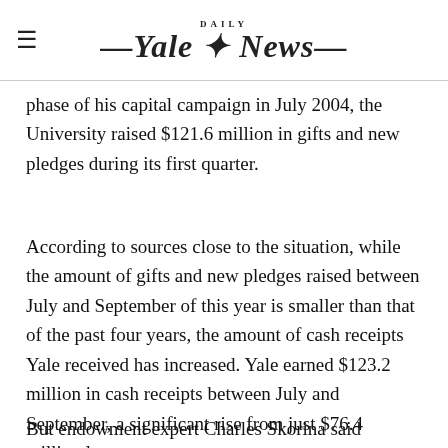Yale Daily News
phase of his capital campaign in July 2004, the University raised $121.6 million in gifts and new pledges during its first quarter.
According to sources close to the situation, while the amount of gifts and new pledges raised between July and September of this year is smaller than that of the past four years, the amount of cash receipts Yale received has increased. Yale earned $123.2 million in cash receipts between July and September, a significant rise from just $76.4 million last year.
But endowment expert Charles Skorina said tallying gifts